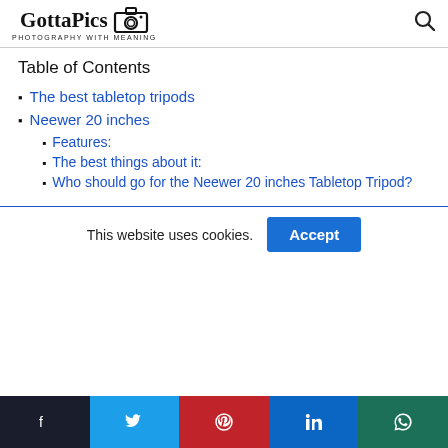GottaPics PHOTOGRAPHY WITH MEANING
Table of Contents
The best tabletop tripods
Neewer 20 inches
Features:
The best things about it:
Who should go for the Neewer 20 inches Tabletop Tripod?
This website uses cookies.
Facebook Twitter Pinterest LinkedIn WhatsApp